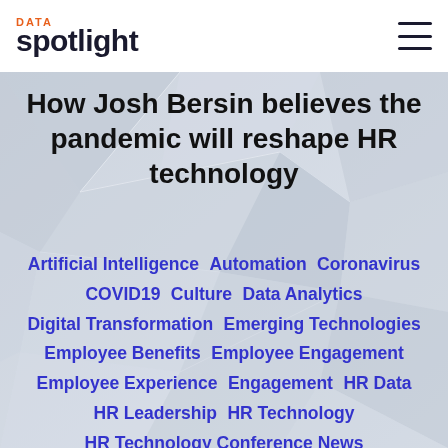DATA spotlight
How Josh Bersin believes the pandemic will reshape HR technology
Artificial Intelligence  Automation  Coronavirus  COVID19  Culture  Data Analytics  Digital Transformation  Emerging Technologies  Employee Benefits  Employee Engagement  Employee Experience  Engagement  HR Data  HR Leadership  HR Technology  HR Technology Conference News  Learning And Development  Mental Health & Benefits  Paid Leave  Recruiting